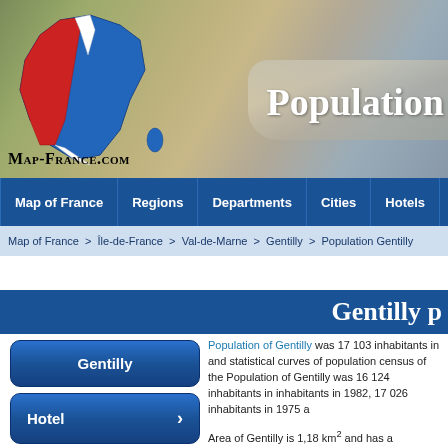[Figure (other): Map-France.com website header banner showing a map of France on the left with blue and red regions highlighted, and a satellite/terrain view of Europe on the right]
Population
Map-France.com
Map of France | Regions | Departments | Cities | Hotels | Direc
Map of France > Île-de-France > Val-de-Marne > Gentilly > Population Gentilly
Gentilly p
Gentilly
Hotel
Road map
Population of Gentilly was 17 103 inhabitants in and statistical curves of population census of the Population of Gentilly was 16 124 inhabitants in inhabitants in 1982, 17 026 inhabitants in 1975 a
Area of Gentilly is 1,18 km² and has a population
Find statistics and informations of the population